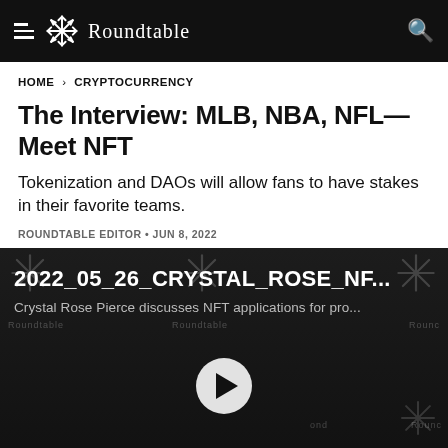Roundtable
HOME > CRYPTOCURRENCY
The Interview: MLB, NBA, NFL—Meet NFT
Tokenization and DAOs will allow fans to have stakes in their favorite teams.
ROUNDTABLE EDITOR • JUN 8, 2022
[Figure (screenshot): Video thumbnail showing 2022_05_26_CRYSTAL_ROSE_NF... with description 'Crystal Rose Pierce discusses NFT applications for pro...' and a play button overlay. A woman with blonde hair and a hat is visible in the background.]